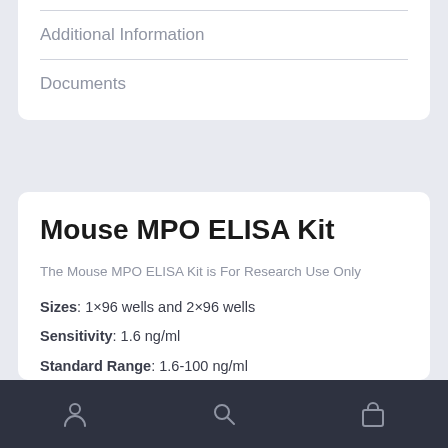Additional Information
Documents
Mouse MPO ELISA Kit
The Mouse MPO ELISA Kit is For Research Use Only
Sizes: 1×96 wells and 2×96 wells
Sensitivity: 1.6 ng/ml
Standard Range: 1.6-100 ng/ml